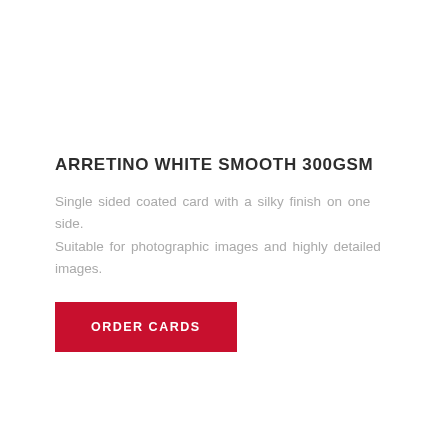ARRETINO WHITE SMOOTH 300GSM
Single sided coated card with a silky finish on one side. Suitable for photographic images and highly detailed images.
[Figure (other): Red button with white uppercase text reading ORDER CARDS]